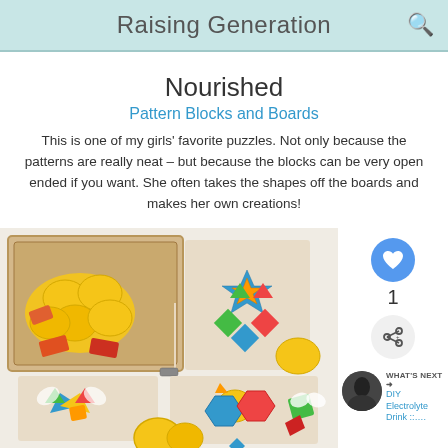Raising Generation
Nourished
Pattern Blocks and Boards
This is one of my girls' favorite puzzles. Not only because the patterns are really neat – but because the blocks can be very open ended if you want. She often takes the shapes off the boards and makes her own creations!
[Figure (photo): Photo of a wooden pattern blocks and boards puzzle set with colorful geometric shapes arranged on boards and loose pieces scattered nearby]
[Figure (infographic): Right sidebar with heart/like button showing count of 1, share button, and WHAT'S NEXT section with thumbnail and DIY Electrolyte Drink label]